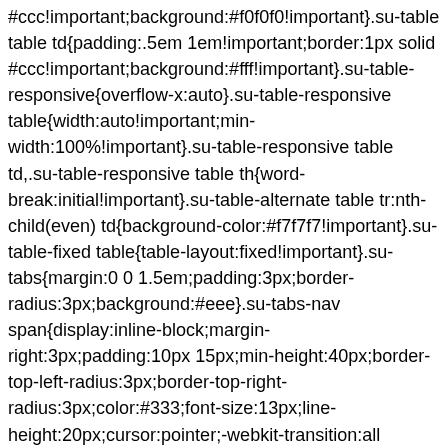#ccc!important;background:#f0f0f0!important}.su-table table td{padding:.5em 1em!important;border:1px solid #ccc!important;background:#fff!important}.su-table-responsive{overflow-x:auto}.su-table-responsive table{width:auto!important;min-width:100%!important}.su-table-responsive table td,.su-table-responsive table th{word-break:initial!important}.su-table-alternate table tr:nth-child(even) td{background-color:#f7f7f7!important}.su-table-fixed table{table-layout:fixed!important}.su-tabs{margin:0 0 1.5em;padding:3px;border-radius:3px;background:#eee}.su-tabs-nav span{display:inline-block;margin-right:3px;padding:10px 15px;min-height:40px;border-top-left-radius:3px;border-top-right-radius:3px;color:#333;font-size:13px;line-height:20px;cursor:pointer;-webkit-transition:all .2s;transition:all .2s}.su-tabs-nav span:hover{background:#f5f5f5}.su-tabs-nav span.su-tabs-current{background:#fff;cursor:default}.su-tabs-nav span:focus{outline:currentColor thin dotted}.su-tabs-nav span.su-tabs-disabled{opacity:.5;cursor:default}.su-tabs-pane{padding:15px;border-bottom-right-radius:3px;border-bottom-left-